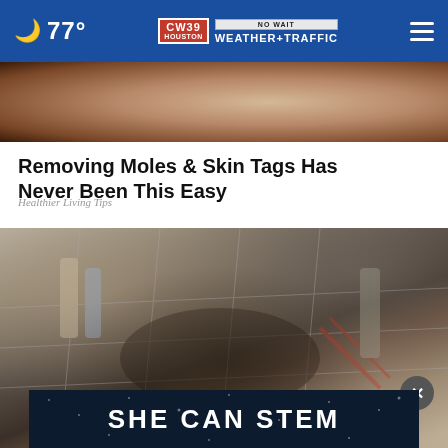🌙 77° | CW39 NO WAIT WEATHER+TRAFFIC | ☰
[Figure (photo): Cropped photo showing a person's torso/arms, close-up skin tone background]
Removing Moles & Skin Tags Has Never Been This Easy
Healthier Living Tips
[Figure (photo): Photo showing people on a brick/paved surface, appears to show debris or an animal on the ground, person with red scissors or tool visible]
SHE CAN STEM